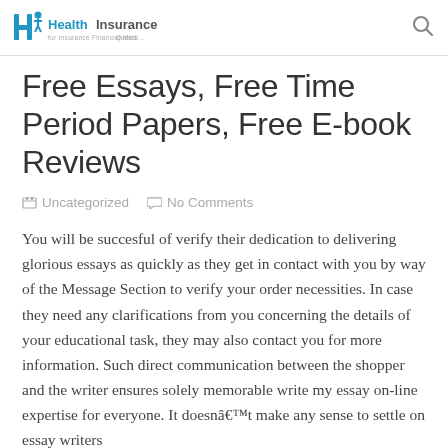Health Insurance Quotes
Free Essays, Free Time Period Papers, Free E-book Reviews
Uncategorized   No Comments
You will be succesful of verify their dedication to delivering glorious essays as quickly as they get in contact with you by way of the Message Section to verify your order necessities. In case they need any clarifications from you concerning the details of your educational task, they may also contact you for more information. Such direct communication between the shopper and the writer ensures solely memorable write my essay on-line expertise for everyone. It doesnât make any sense to settle on essay writers